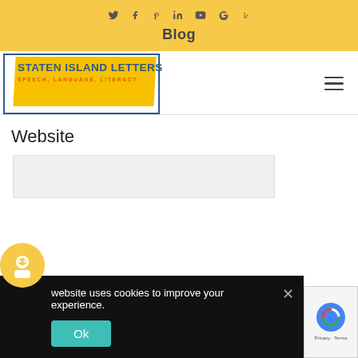Social icons: Twitter, Facebook, Pinterest, LinkedIn, YouTube, Google, Yelp
Blog
[Figure (logo): Staten Island Letters logo — yellow parallelogram background with blue border box, text reads STATEN ISLAND LETTERS in blue, SPEECH, LANGUAGE, LITERACY in orange]
Website
website uses cookies to improve your experience.
Ok